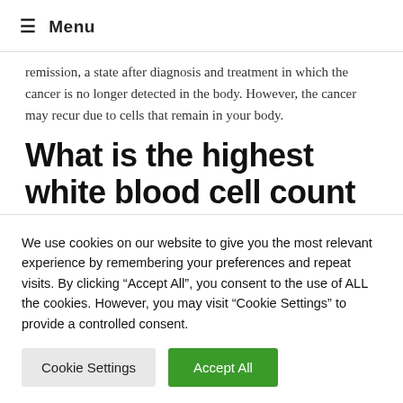≡ Menu
remission, a state after diagnosis and treatment in which the cancer is no longer detected in the body. However, the cancer may recur due to cells that remain in your body.
What is the highest white blood cell count recorded?
The specific number for high (above normal) white blood
We use cookies on our website to give you the most relevant experience by remembering your preferences and repeat visits. By clicking "Accept All", you consent to the use of ALL the cookies. However, you may visit "Cookie Settings" to provide a controlled consent.